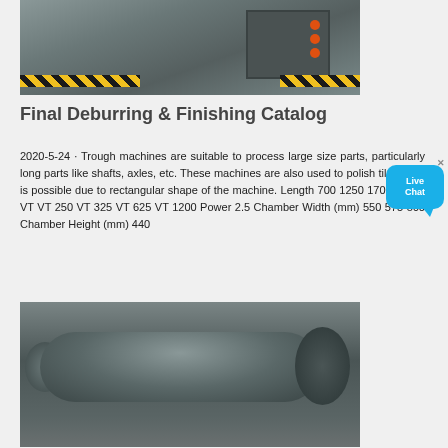[Figure (photo): Industrial trough/deburring machine in workshop, showing large grey metal machine with orange buttons, yellow-black safety striped floor]
Final Deburring & Finishing Catalog
2020-5-24 · Trough machines are suitable to process large size parts, particularly long parts like shafts, axles, etc. These machines are also used to polish tiles. This is possible due to rectangular shape of the machine. Length 700 1250 1700 Model VT VT 250 VT 325 VT 625 VT 1200 Power 2.5 Chamber Width (mm) 550 575 860 Chamber Height (mm) 440
[Figure (photo): Large grey cylindrical metal barrel or drum, industrial finishing/deburring machine component, photographed in a workshop]